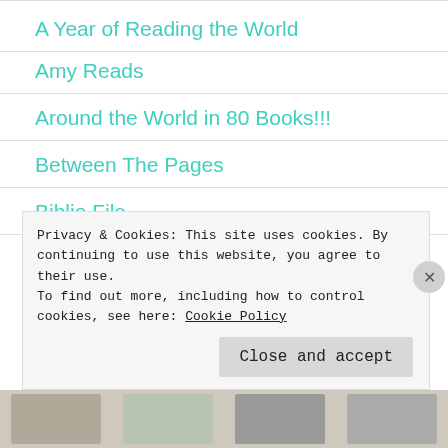A Year of Reading the World
Amy Reads
Around the World in 80 Books!!!
Between The Pages
Biblio File
Biblioglobal
Privacy & Cookies: This site uses cookies. By continuing to use this website, you agree to their use. To find out more, including how to control cookies, see here: Cookie Policy
Close and accept